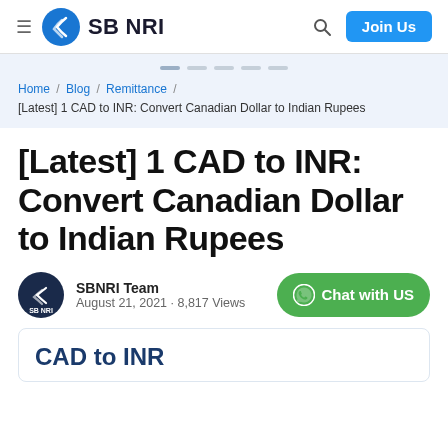SB NRI — Join Us
Home / Blog / Remittance / [Latest] 1 CAD to INR: Convert Canadian Dollar to Indian Rupees
[Latest] 1 CAD to INR: Convert Canadian Dollar to Indian Rupees
SBNRI Team · August 21, 2021 · 8,817 Views
CAD to INR